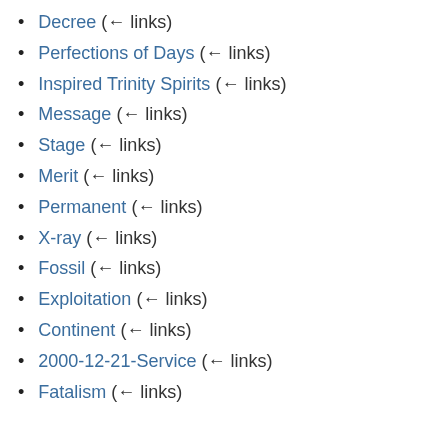Decree  (← links)
Perfections of Days  (← links)
Inspired Trinity Spirits  (← links)
Message  (← links)
Stage  (← links)
Merit  (← links)
Permanent  (← links)
X-ray  (← links)
Fossil  (← links)
Exploitation  (← links)
Continent  (← links)
2000-12-21-Service  (← links)
Fatalism  (← links)